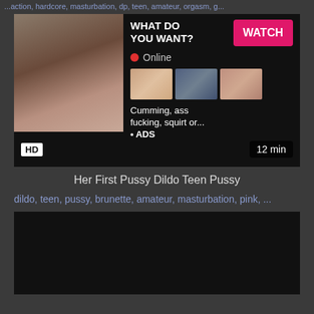...action, hardcore, masturbation, dp, teen, amateur, orgasm, g...
[Figure (screenshot): Adult advertisement banner with video thumbnail on left, text 'WHAT DO YOU WANT?' with pink WATCH button, Online status indicator, three smaller thumbnails, text 'Cumming, ass fucking, squirt or...' and '• ADS']
HD   12 min
Her First Pussy Dildo Teen Pussy
dildo, teen, pussy, brunette, amateur, masturbation, pink, ...
[Figure (screenshot): Black video player area]